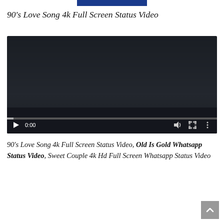90’s Love Song 4k Full Screen Status Video
[Figure (screenshot): Embedded video player showing a dark/black screen with playback controls at bottom: play button, time display 0:00, progress bar, volume icon, fullscreen icon, and more options icon.]
90’s Love Song 4k Full Screen Status Video, Old Is Gold Whatsapp Status Video, Sweet Couple 4k Hd Full Screen Whatsapp Status Video